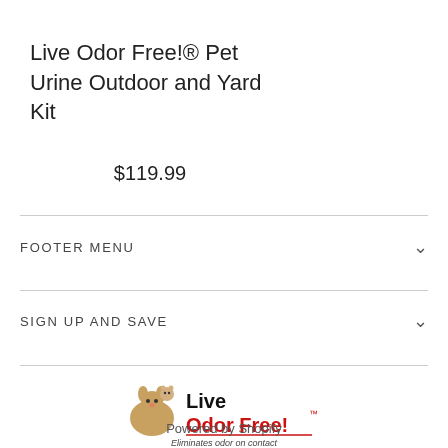Live Odor Free!® Pet Urine Outdoor and Yard Kit
$119.99
FOOTER MENU
SIGN UP AND SAVE
[Figure (logo): Live Odor Free! logo with dog and cat graphic and tagline 'Eliminates odor on contact']
Powered by Shopify